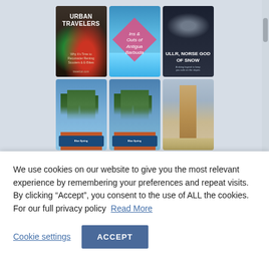[Figure (photo): A 3x2 grid of travel blog post thumbnails: 1) Urban Travelers - bikes image with text overlay, 2) Ins and Outs of Antigua Barbuda - beach/ocean with pink diamond overlay, 3) Ullr Norse God of Snow - dark moody image with text, 4) Palm trees with blue sky and colorful building sign, 5) Similar palm trees scene, 6) Tall adobe/mud brick tower in desert landscape]
We use cookies on our website to give you the most relevant experience by remembering your preferences and repeat visits. By clicking “Accept”, you consent to the use of ALL the cookies. For our full privacy policy  Read More
Cookie settings
ACCEPT